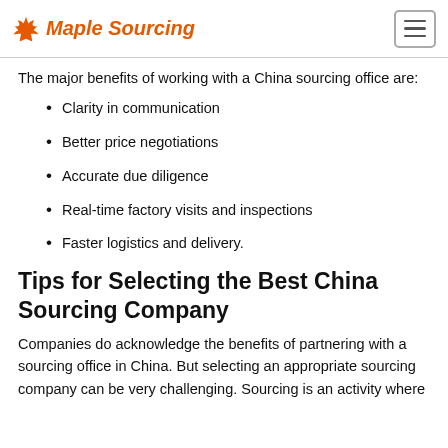Maple Sourcing
The major benefits of working with a China sourcing office are:
Clarity in communication
Better price negotiations
Accurate due diligence
Real-time factory visits and inspections
Faster logistics and delivery.
Tips for Selecting the Best China Sourcing Company
Companies do acknowledge the benefits of partnering with a sourcing office in China. But selecting an appropriate sourcing company can be very challenging. Sourcing is an activity where